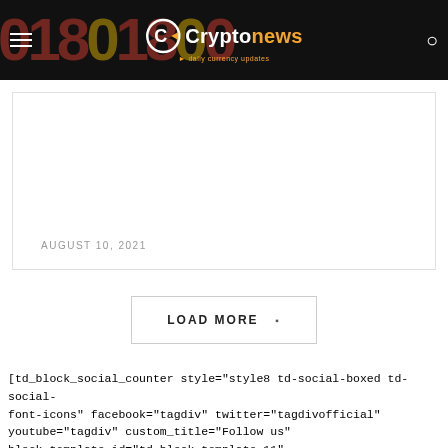Cryptonews — daily currency updates
AUGUST 10, 2021
LOAD MORE
[td_block_social_counter style="style8 td-social-boxed td-social-font-icons" facebook="tagdiv" twitter="tagdivofficial" youtube="tagdiv" custom_title="Follow us" block_template_id="td_block_template_11" border_color="#fbb03b" f_header_font_size="eyJhbGwiOilyMCIsInBvcnRyYYWl0IjoiMTgifQ==" f_header_font_weight="600" f_header_font_family="702" f_header_font_transform="uppercase" tdc_css="eyJwb3J0cmFpdCI6InBhcnQiIjoiMTcifQ=="